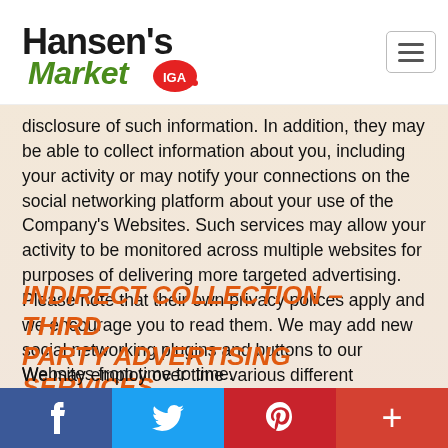[Figure (logo): Hansen's Market IGA logo - green and orange text with IGA badge]
disclosure of such information. In addition, they may be able to collect information about you, including your activity or may notify your connections on the social networking platform about your use of the Company's Websites. Such services may allow your activity to be monitored across multiple websites for purposes of delivering more targeted advertising. Please note that their own privacy polices apply and we encourage you to read them. We may add new social networking plugins and buttons to our Websites from time to time.
INDIRECT COLLECTION – THIRD PARTY ADVERTISING SERVICES
We may employ over time various different advertising or remarketing services that serve you targeted advertisements to make your online experience more focused to your interests. These
[Figure (infographic): Social media sharing bar with Facebook (blue), Twitter (light blue), Pinterest (red), and plus/more (dark red) buttons]